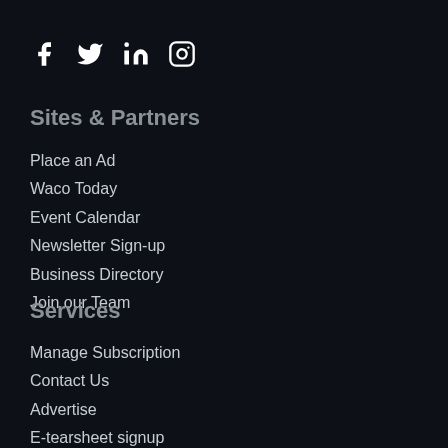[Figure (other): Social media icons: Facebook, Twitter, LinkedIn, Instagram]
Sites & Partners
Place an Ad
Waco Today
Event Calendar
Newsletter Sign-up
Business Directory
Join our Team
Services
Manage Subscription
Contact Us
Advertise
E-tearsheet signup
E-invoices
Delivery Contact